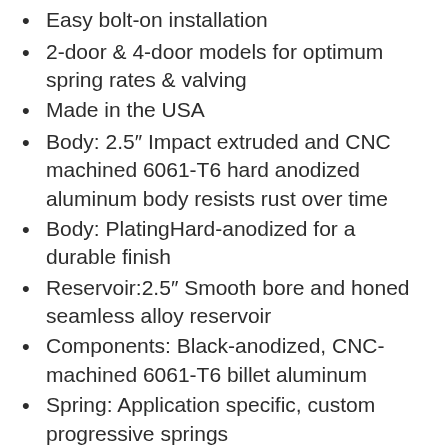Easy bolt-on installation
2-door & 4-door models for optimum spring rates & valving
Made in the USA
Body: 2.5″ Impact extruded and CNC machined 6061-T6 hard anodized aluminum body resists rust over time
Body: PlatingHard-anodized for a durable finish
Reservoir:2.5″ Smooth bore and honed seamless alloy reservoir
Components: Black-anodized, CNC-machined 6061-T6 billet aluminum
Spring: Application specific, custom progressive springs
Shaft: 7/8″ hard chrome plated steel shafts
Valving: Application specific valving to maximize performance
Seals: Redundant sealing pack system